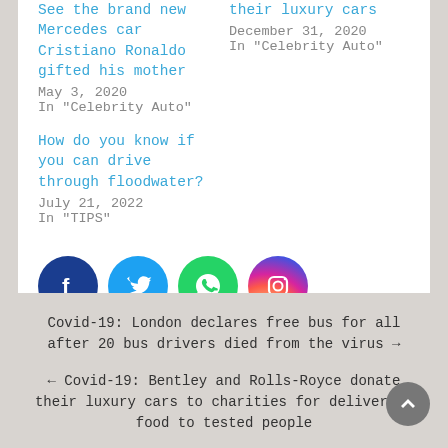See the brand new Mercedes car Cristiano Ronaldo gifted his mother
May 3, 2020
In "Celebrity Auto"
their luxury cars
December 31, 2020
In "Celebrity Auto"
How do you know if you can drive through floodwater?
July 21, 2022
In "TIPS"
[Figure (illustration): Social media share icons: Facebook (dark blue circle), Twitter (light blue circle), WhatsApp (green circle), Instagram (gradient circle)]
Covid-19: London declares free bus for all after 20 bus drivers died from the virus →
← Covid-19: Bentley and Rolls-Royce donate their luxury cars to charities for delivering food to tested people